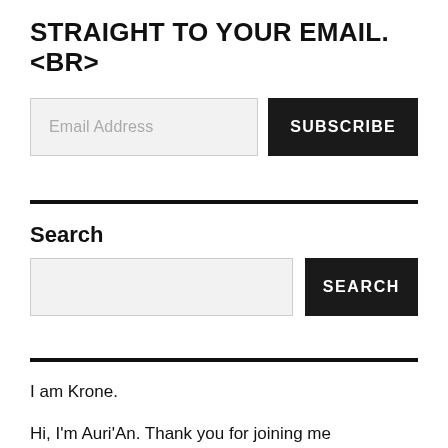STRAIGHT TO YOUR EMAIL.<BR>
Email Address
SUBSCRIBE
Search
SEARCH
I am Krone.
Hi, I'm Auri'An. Thank you for joining me